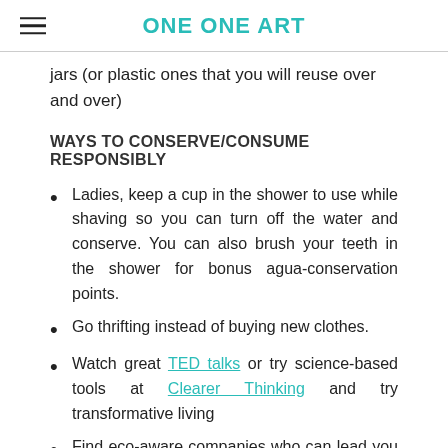ONE ONE ART
jars (or plastic ones that you will reuse over and over)
WAYS TO CONSERVE/CONSUME RESPONSIBLY
Ladies, keep a cup in the shower to use while shaving so you can turn off the water and conserve. You can also brush your teeth in the shower for bonus agua-conservation points.
Go thrifting instead of buying new clothes.
Watch great TED talks or try science-based tools at Clearer Thinking and try transformative living
Find eco-aware companies who can lead you to better the world in ways and so on...